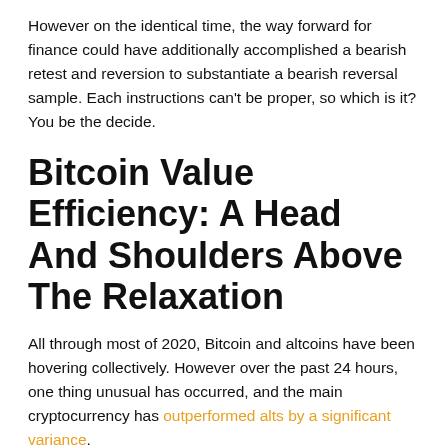However on the identical time, the way forward for finance could have additionally accomplished a bearish retest and reversion to substantiate a bearish reversal sample. Each instructions can't be proper, so which is it? You be the decide.
Bitcoin Value Efficiency: A Head And Shoulders Above The Relaxation
All through most of 2020, Bitcoin and altcoins have been hovering collectively. However over the past 24 hours, one thing unusual has occurred, and the main cryptocurrency has outperformed alts by a significant variance.
BTC dominance is breaking out of a downtrend line